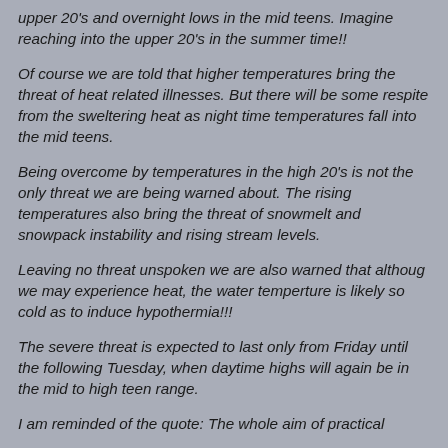upper 20's and overnight lows in the mid teens. Imagine reaching into the upper 20's in the summer time!!
Of course we are told that higher temperatures bring the threat of heat related illnesses. But there will be some respite from the sweltering heat as night time temperatures fall into the mid teens.
Being overcome by temperatures in the high 20's is not the only threat we are being warned about. The rising temperatures also bring the threat of snowmelt and snowpack instability and rising stream levels.
Leaving no threat unspoken we are also warned that althoug we may experience heat, the water temperture is likely so cold as to induce hypothermia!!!
The severe threat is expected to last only from Friday until the following Tuesday, when daytime highs will again be in the mid to high teen range.
I am reminded of the quote: The whole aim of practical